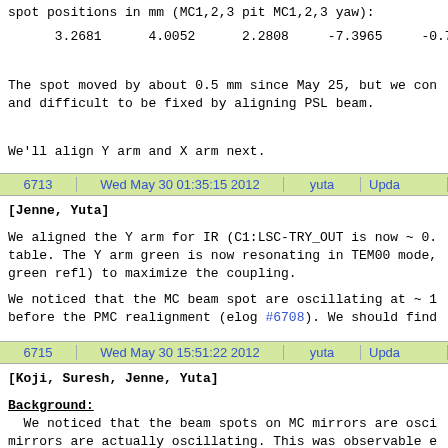spot positions in mm (MC1,2,3 pit MC1,2,3 yaw):
      3.2681      4.0052      2.2808     -7.3965     -0.7624     7
The spot moved by about 0.5 mm since May 25, but we con and difficult to be fixed by aligning PSL beam.
We'll align Y arm and X arm next.
6713    Wed May 30 01:35:15 2012    yuta    Upda
[Jenne, Yuta]
We aligned the Y arm for IR (C1:LSC-TRY_OUT is now ~ 0. table. The Y arm green is now resonating in TEM00 mode, green refl) to maximize the coupling.
We noticed that the MC beam spot are oscillating at ~ 1 before the PMC realignment (elog #6708). We should find
6715    Wed May 30 15:51:22 2012    yuta    Upda
[Koji, Suresh, Jenne, Yuta]
Background:
We noticed that the beam spots on MC mirrors are osci mirrors are actually oscillating. This was observable e
What we did:
1. By measuring the spectra of OSEM sensor outputs, w